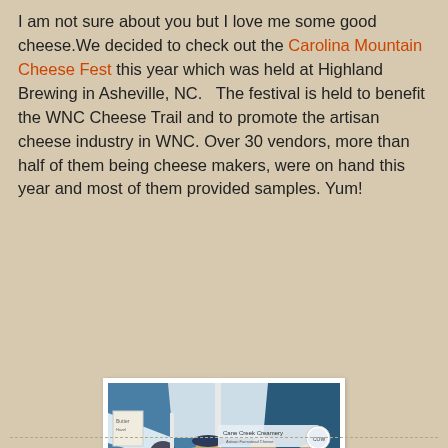I am not sure about you but I love me some good cheese.We decided to check out the Carolina Mountain Cheese Fest this year which was held at Highland Brewing in Asheville, NC.   The festival is held to benefit the WNC Cheese Trail and to promote the artisan cheese industry in WNC. Over 30 vendors, more than half of them being cheese makers, were on hand this year and most of them provided samples. Yum!
[Figure (photo): Outdoor festival vendor booth scene showing people sampling cheese at a table under white canopy tents. A banner for 'Cane Creek Creamery' is visible in the background.]